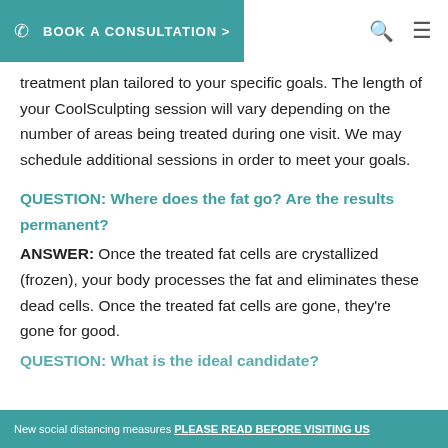BOOK A CONSULTATION >
treatment plan tailored to your specific goals. The length of your CoolSculpting session will vary depending on the number of areas being treated during one visit. We may schedule additional sessions in order to meet your goals.
QUESTION: Where does the fat go? Are the results permanent?
ANSWER: Once the treated fat cells are crystallized (frozen), your body processes the fat and eliminates these dead cells. Once the treated fat cells are gone, they're gone for good.
New social distancing measures PLEASE READ BEFORE VISITING US